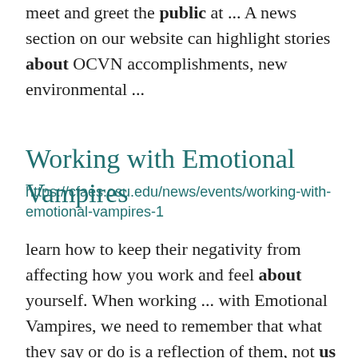meet and greet the public at ... A news section on our website can highlight stories about OCVN accomplishments, new environmental ...
Working with Emotional Vampires
https://cfaes.osu.edu/news/events/working-with-emotional-vampires-1
learn how to keep their negativity from affecting how you work and feel about yourself. When working ... with Emotional Vampires, we need to remember that what they say or do is a reflection of them, not us ... . Participants in this workshop will: • Learn about the different types of